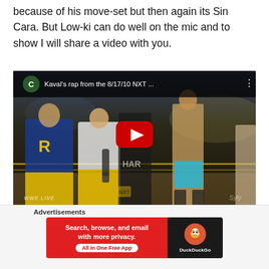because of his move-set but then again its Sin Cara. But Low-ki can do well on the mic and to show I will share a video with you.
[Figure (screenshot): Embedded YouTube video thumbnail showing WWE NXT wrestlers in a ring. Video title bar shows 'C' channel icon and title 'Kaval's rap from the 8/17/10 NXT ...' with a red YouTube play button overlaid in the center. Bottom left shows WWE Live watermark, bottom right shows Syfy watermark.]
Advertisements
[Figure (screenshot): DuckDuckGo advertisement banner. Left side red background with white bold text 'Search, browse, and email with more privacy.' and white pill button 'All in One Free App'. Right side dark background with DuckDuckGo orange duck logo and 'DuckDuckGo' text.]